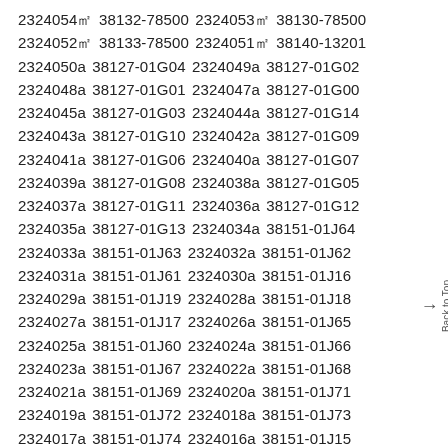2324054㎡ 38132-78500 2324053㎡ 38130-78500 2324052㎡ 38133-78500 2324051㎡ 38140-13201 2324050a 38127-01G04 2324049a 38127-01G02 2324048a 38127-01G01 2324047a 38127-01G00 2324045a 38127-01G03 2324044a 38127-01G14 2324043a 38127-01G10 2324042a 38127-01G09 2324041a 38127-01G06 2324040a 38127-01G07 2324039a 38127-01G08 2324038a 38127-01G05 2324037a 38127-01G11 2324036a 38127-01G12 2324035a 38127-01G13 2324034a 38151-01J64 2324033a 38151-01J63 2324032a 38151-01J62 2324031a 38151-01J61 2324030a 38151-01J16 2324029a 38151-01J19 2324028a 38151-01J18 2324027a 38151-01J17 2324026a 38151-01J65 2324025a 38151-01J60 2324024a 38151-01J66 2324023a 38151-01J67 2324022a 38151-01J68 2324021a 38151-01J69 2324020a 38151-01J71 2324019a 38151-01J72 2324018a 38151-01J73 2324017a 38151-01J74 2324016a 38151-01J15 2324015a 38151-01J70 2324014a 38151-01J05 2324013a 38151-01J01 2324012a